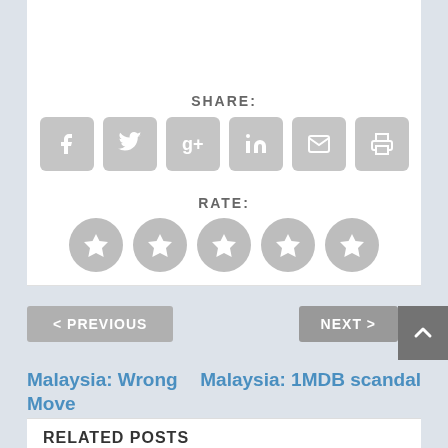SHARE:
[Figure (infographic): Six social share icon buttons: Facebook, Twitter, Google+, LinkedIn, Email, Print — all gray rounded squares]
RATE:
[Figure (infographic): Five gray circular star rating buttons]
< PREVIOUS
NEXT >
Malaysia: Wrong Move
Malaysia: 1MDB scandal
RELATED POSTS